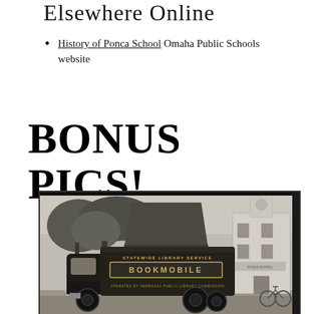Elsewhere Online
History of Ponca School Omaha Public Schools website
BONUS PICS!
[Figure (photo): Black and white photograph of a Statewide Library Service Bookmobile truck parked in front of Ponca School. The truck has 'STATEWIDE LIBRARY SERVICE' written above and 'BOOKMOBILE' displayed prominently on its side. A white two-story school building is visible on the right, and trees are visible in the background. A bicycle is parked near the school.]